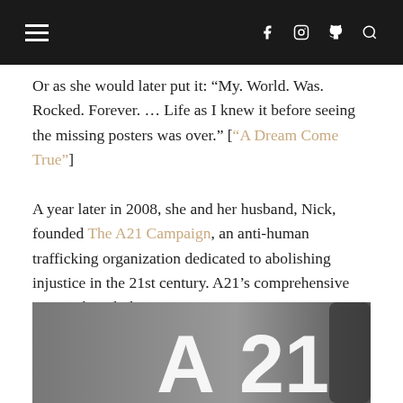≡  f  ⊡  Ⓟ  🔍
Or as she would later put it: “My. World. Was. Rocked. Forever. … Life as I knew it before seeing the missing posters was over.” [“A Dream Come True”]
A year later in 2008, she and her husband, Nick, founded The A21 Campaign, an anti-human trafficking organization dedicated to abolishing injustice in the 21st century. A21’s comprehensive approach includes raising awareness, preventing future trafficking, taking legal action, and providing rehabilitation services to survivors.
[Figure (photo): Black and white photo showing the A21 logo text on a dark surface.]